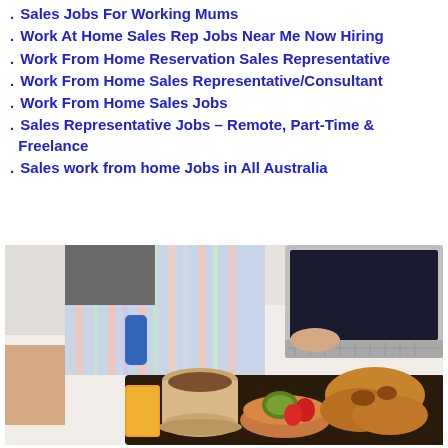. Sales Jobs For Working Mums
. Work At Home Sales Rep Jobs Near Me Now Hiring
. Work From Home Reservation Sales Representative
. Work From Home Sales Representative/Consultant
. Work From Home Sales Jobs
. Sales Representative Jobs – Remote, Part-Time & Freelance
. Sales work from home Jobs in All Australia
[Figure (photo): Person sitting cross-legged on a bed using a laptop, with a breakfast tray in the foreground containing coffee, orange juice, fruit bowl with kiwi and strawberries, and croissants]